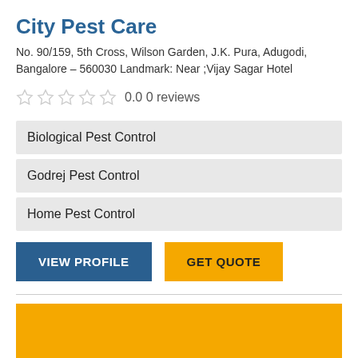City Pest Care
No. 90/159, 5th Cross, Wilson Garden, J.K. Pura, Adugodi, Bangalore – 560030 Landmark: Near ;Vijay Sagar Hotel
0.0 0 reviews
Biological Pest Control
Godrej Pest Control
Home Pest Control
VIEW PROFILE   GET QUOTE
[Figure (other): Yellow banner/advertisement block at the bottom of the page]